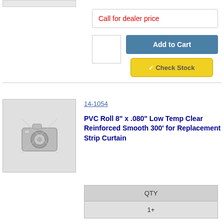[Figure (photo): Product image placeholder (top, partial view) - gray box with no product image]
Call for dealer price
[Figure (screenshot): Add to Cart button (blue) and Check Stock button (yellow)]
[Figure (photo): Product image placeholder - camera icon on gray background]
14-1054
PVC Roll 8" x .080" Low Temp Clear Reinforced Smooth 300' for Replacement Strip Curtain
| QTY |
| --- |
| 1+ |